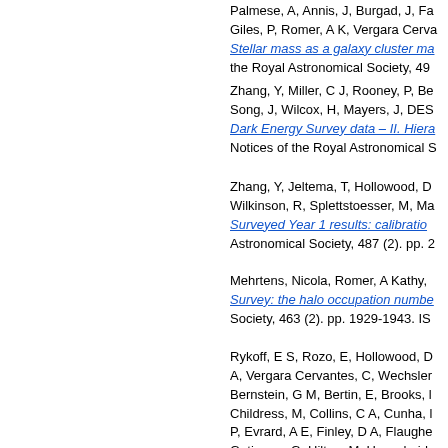Palmese, A, Annis, J, Burgad, J, Fa... Giles, P, Romer, A K, Vergara Cerva... Stellar mass as a galaxy cluster ma... the Royal Astronomical Society, 49...
Zhang, Y, Miller, C J, Rooney, P, Be... Song, J, Wilcox, H, Mayers, J, DES... Dark Energy Survey data – II. Hiera... Notices of the Royal Astronomical S...
Zhang, Y, Jeltema, T, Hollowood, D... Wilkinson, R, Splettstoesser, M, Ma... Surveyed Year 1 results: calibratio... Astronomical Society, 487 (2). pp. 2...
Mehrtens, Nicola, Romer, A Kathy,... Survey: the halo occupation numbe... Society, 463 (2). pp. 1929-1943. IS...
Rykoff, E S, Rozo, E, Hollowood, D... A, Vergara Cervantes, C, Wechsler... Bernstein, G M, Bertin, E, Brooks, ... Childress, M, Collins, C A, Cunha, ... P, Evrard, A E, Finley, D A, Flaughe... Gutierrez, G, Hilton, M, Honscheid... Lidman, C, Lima, M, Maia, M A G, ...